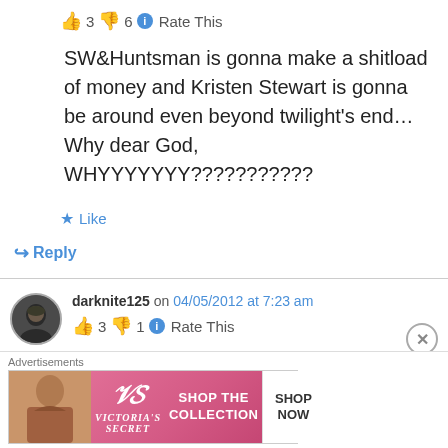👍 3 👎 6 ℹ Rate This
SW&Huntsman is gonna make a shitload of money and Kristen Stewart is gonna be around even beyond twilight's end… Why dear God, WHYYYYYYY???????????
★ Like
↪ Reply
darknite125 on 04/05/2012 at 7:23 am
👍 3 👎 1 ℹ Rate This
McGrath would be perfect she's easily the best
[Figure (infographic): Victoria's Secret advertisement banner with model photo, VS logo, 'SHOP THE COLLECTION' text, and 'SHOP NOW' button]